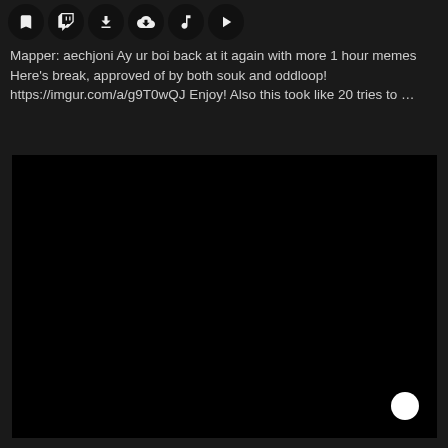[Figure (screenshot): Row of circular icon buttons: bookmark, Twitch logo, download arrow, cloud download, music note, play button]
Mapper: aechjoni Ay ur boi back at it again with more 1 hour memes Here's break, approved of by both souk and oddloop! https://imgur.com/a/g9T0wQJ Enjoy! Also this took like 20 tries to …
[Figure (screenshot): Large black video player area with a white circular dot in the bottom-right corner]